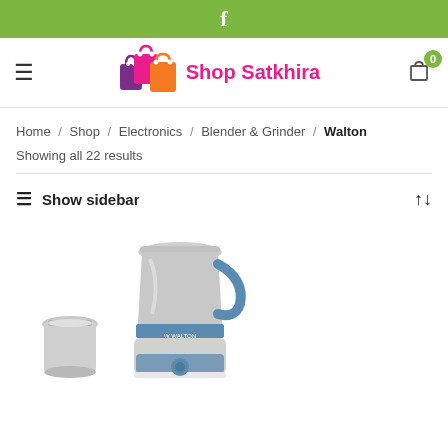f (Facebook link bar)
[Figure (logo): Shop Satkhira logo with colorful shopping bags and site name]
Home / Shop / Electronics / Blender & Grinder / Walton
Showing all 22 results
≡ Show sidebar
[Figure (photo): Walton blender and grinder product image showing a blue and white mixer grinder with stainless steel jar and a separate small jar]